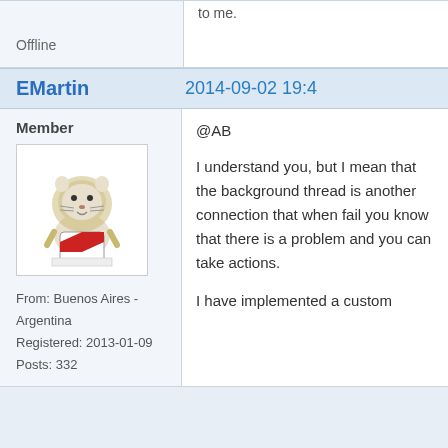Offline
to me.
EMartin
2014-09-02 19:4
Member
[Figure (illustration): User avatar showing a cartoon lion/animal with a red diagonal banner/shield, Buenos Aires River Plate style logo]
From: Buenos Aires - Argentina
Registered: 2013-01-09
Posts: 332
@AB

I understand you, but I mean that the background thread is another connection that when fail you know that there is a problem and you can take actions.

I have implemented a custom